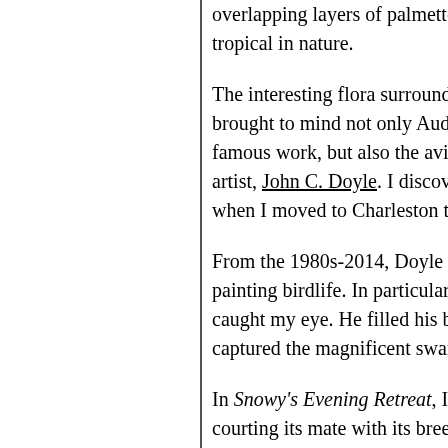overlapping layers of palmetto leaves tropical in nature.
The interesting flora surrounding brought to mind not only Audubon's famous work, but also the aviary artist, John C. Doyle. I discovered when I moved to Charleston two
From the 1980s-2014, Doyle tra painting birdlife. In particular, h caught my eye. He filled his bac captured the magnificent swamp
In Snowy's Evening Retreat, I po courting its mate with its breedin